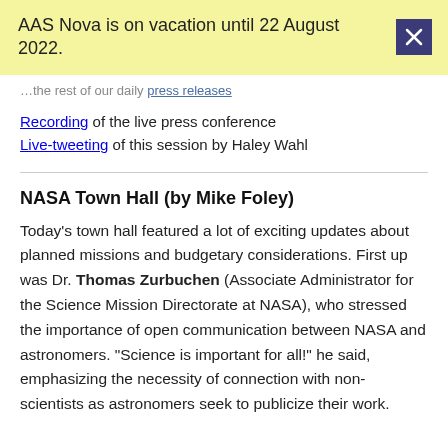AAS Nova is on vacation until 22 August 2022.
...the rest of our daily press releases
Recording of the live press conference
Live-tweeting of this session by Haley Wahl
NASA Town Hall (by Mike Foley)
Today's town hall featured a lot of exciting updates about planned missions and budgetary considerations. First up was Dr. Thomas Zurbuchen (Associate Administrator for the Science Mission Directorate at NASA), who stressed the importance of open communication between NASA and astronomers. "Science is important for all!" he said, emphasizing the necessity of connection with non-scientists as astronomers seek to publicize their work.